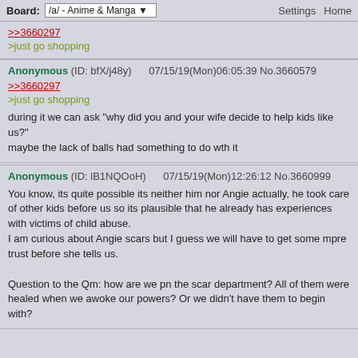Board: /a/ - Anime & Manga  Settings  Home
>>3660297
>just go shopping
Anonymous (ID: bfX/j48y) 07/15/19(Mon)06:05:39 No.3660579
>>3660297
>just go shopping
during it we can ask "why did you and your wife decide to help kids like us?"
maybe the lack of balls had something to do wth it
Anonymous (ID: lB1NQOoH) 07/15/19(Mon)12:26:12 No.3660999
You know, its quite possible its neither him nor Angie actually, he took care of other kids before us so its plausible that he already has experiences with victims of child abuse.
I am curious about Angie scars but I guess we will have to get some mpre trust before she tells us.

Question to the Qm: how are we pn the scar department? All of them were healed when we awoke our powers? Or we didn't have them to begin with?